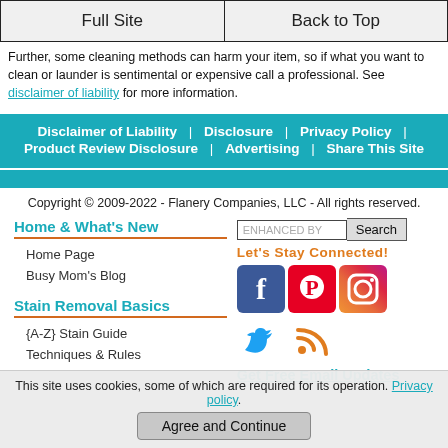Full Site | Back to Top
Further, some cleaning methods can harm your item, so if what you want to clean or launder is sentimental or expensive call a professional. See disclaimer of liability for more information.
Disclaimer of Liability | Disclosure | Privacy Policy | Product Review Disclosure | Advertising | Share This Site
Copyright © 2009-2022 - Flanery Companies, LLC - All rights reserved.
Home & What's New
Home Page
Busy Mom's Blog
Stain Removal Basics
{A-Z} Stain Guide
Techniques & Rules
ENHANCED BY Search
Let's Stay Connected!
[Figure (other): Social media icons: Facebook, Pinterest, Instagram, Twitter, RSS feed]
Get Free Email Updates
This site uses cookies, some of which are required for its operation. Privacy policy.
Agree and Continue